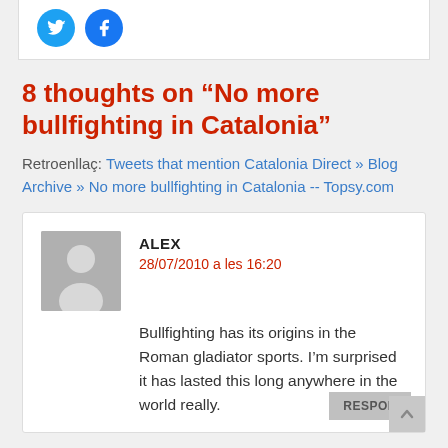[Figure (other): Twitter and Facebook social share buttons as blue circular icons]
8 thoughts on “No more bullfighting in Catalonia”
Retroenllaç: Tweets that mention Catalonia Direct » Blog Archive » No more bullfighting in Catalonia -- Topsy.com
ALEX
28/07/2010 a les 16:20
Bullfighting has its origins in the Roman gladiator sports. I’m surprised it has lasted this long anywhere in the world really.